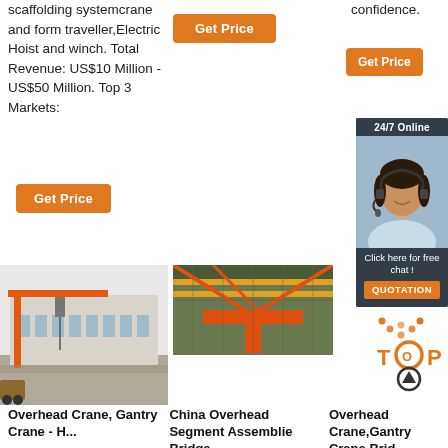scaffolding systemcrane and form traveller,Electric Hoist and winch. Total Revenue: US$10 Million - US$50 Million. Top 3 Markets:
[Figure (other): Orange 'Get Price' button in center column]
confidence.
[Figure (other): Orange 'Get Price' button in right column]
[Figure (other): Orange 'Get Price' button in left column]
[Figure (other): 24/7 Online chat widget with customer service representative photo and QUOTATION button]
[Figure (photo): Photo of a red/orange gantry crane inside a large warehouse building]
[Figure (photo): Photo of overhead crane segment assembly bridge showing yellow crane rails and structure from below]
[Figure (logo): TOP logo with circular arrow icon in orange and gray]
Overhead Crane, Gantry Crane - H...
China Overhead Segment Assemblie Bridge...
Overhead Crane,Gantry Crane,Brid...